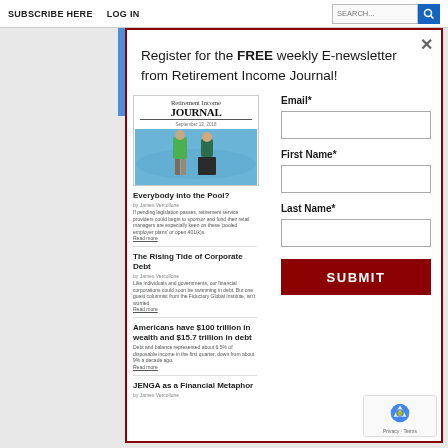SUBSCRIBE HERE   LOG IN   SEARCH...
Register for the FREE weekly E-newsletter from Retirement Income Journal!
[Figure (screenshot): Retirement Income Journal magazine cover with underwater pool photo and article previews including 'Everybody into the Pool?', 'The Rising Tide of Corporate Debt', 'Americans have $100 trillion in wealth and $15.7 trillion in debt', 'JENGA as a Financial Metaphor']
Email*
First Name*
Last Name*
SUBMIT